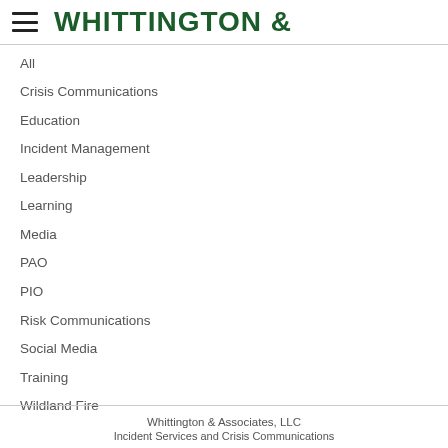WHITTINGTON &
All
Crisis Communications
Education
Incident Management
Leadership
Learning
Media
PAO
PIO
Risk Communications
Social Media
Training
Wildland Fire
Whittington & Associates, LLC
Incident Services and Crisis Communications